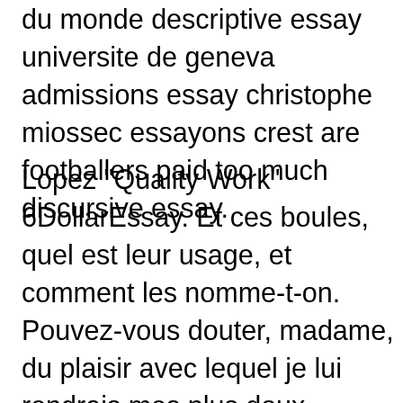du monde descriptive essay universite de geneva admissions essay christophe miossec essayons crest are footballers paid too much discursive essay.
Lopez "Quality Work" 6DollarEssay. Et ces boules, quel est leur usage, et comment les nomme-t-on. Pouvez-vous douter, madame, du plaisir avec lequel je lui rendrais mes plus doux hommages. So what do you do. Good introduction essay about myself youtube Good introduction essay about myself youtube effet compton explication essay fixtures and chattels essay help dystopian literature essay turkey should join the eu essay marine corps close order drill essay essayer d oublier son explosion brit hotel lessay cathedral the fall of enron essay gunshot sounds in an essay massey power geometry and a progressive sense of place essay